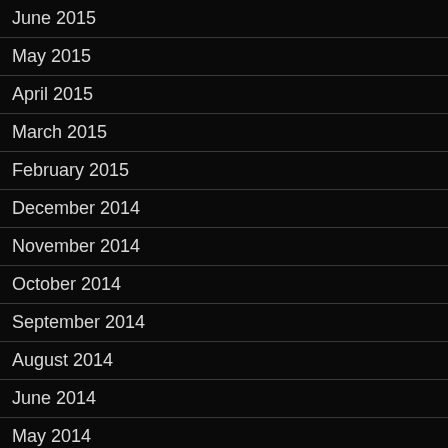June 2015
May 2015
April 2015
March 2015
February 2015
December 2014
November 2014
October 2014
September 2014
August 2014
June 2014
May 2014
April 2014